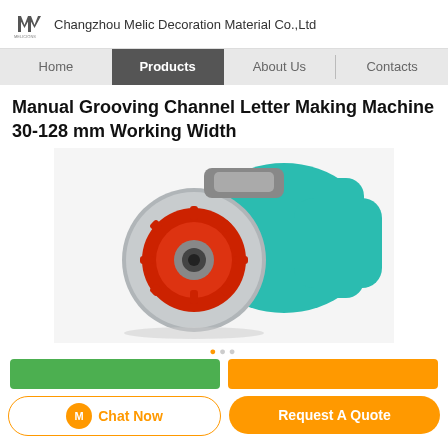Changzhou Melic Decoration Material Co.,Ltd
Home | Products | About Us | Contacts
Manual Grooving Channel Letter Making Machine 30-128 mm Working Width
[Figure (photo): Close-up photo of a manual grooving channel letter making machine showing a teal/green body with a red toothed circular blade/gear and gray metal housing.]
Chat Now | Request A Quote